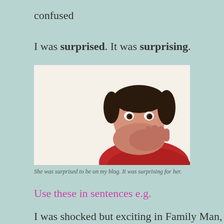confused
I was surprised. It was surprising.
[Figure (photo): A woman with dark hair in a red top covering her mouth with both hands, expressing surprise, against a cream background.]
She was surprised to be on my blog. It was surprising for her.
Use these in sentences e.g.
I was shocked but exciting in Family Man, I...